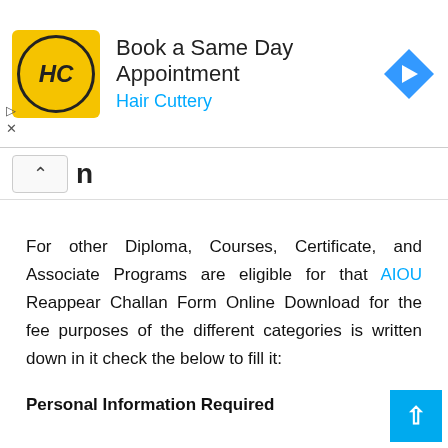[Figure (illustration): Hair Cuttery advertisement banner with yellow HC logo, text 'Book a Same Day Appointment' and 'Hair Cuttery' in blue, and a blue navigation arrow icon on the right.]
n
For other Diploma, Courses, Certificate, and Associate Programs are eligible for that AIOU Reappear Challan Form Online Download for the fee purposes of the different categories is written down in it check the below to fill it:
Personal Information Required